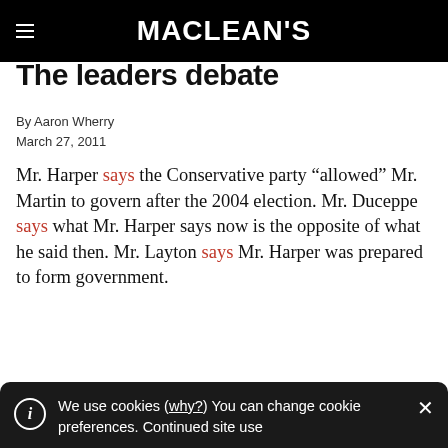MACLEAN'S
The leaders debate
By Aaron Wherry
March 27, 2011
Mr. Harper says the Conservative party “allowed” Mr. Martin to govern after the 2004 election. Mr. Duceppe says what Mr. Harper says now is the opposite of what he said then. Mr. Layton says Mr. Harper was prepared to form government.
We use cookies (why?) You can change cookie preferences. Continued site use